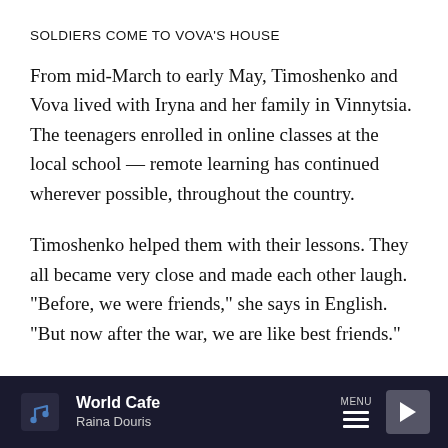SOLDIERS COME TO VOVA'S HOUSE
From mid-March to early May, Timoshenko and Vova lived with Iryna and her family in Vinnytsia. The teenagers enrolled in online classes at the local school — remote learning has continued wherever possible, throughout the country.
Timoshenko helped them with their lessons. They all became very close and made each other laugh. "Before, we were friends," she says in English. "But now after the war, we are like best friends."
Vova had a few of what he called "nervous breakdowns," crying, and not wanting to talk to anyone. The biggest one
World Cafe · Raina Douris